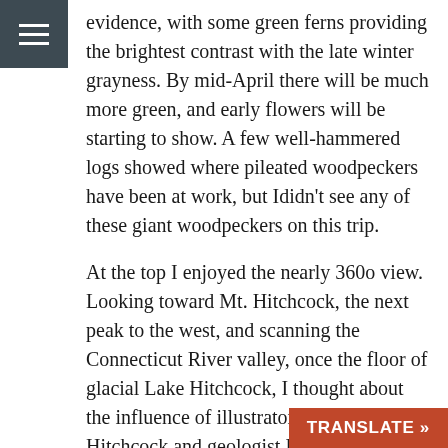[Figure (other): Hamburger menu icon — three horizontal white lines on a dark slate-grey square background]
evidence, with some green ferns providing the brightest contrast with the late winter grayness. By mid-April there will be much more green, and early flowers will be starting to show. A few well-hammered logs showed where pileated woodpeckers have been at work, but Ididn't see any of these giant woodpeckers on this trip.
At the top I enjoyed the nearly 360o view. Looking toward Mt. Hitchcock, the next peak to the west, and scanning the Connecticut River valley, once the floor of glacial Lake Hitchcock, I thought about the influence of illustrator Orra White Hitchcock and geologist Edward Hitchcock, eponyms of these features and of the Hitchcock Center.
I settled on a south-facing rock a little below the summit to watch for north-bound raptors. From this perch I could appreciate a hawk's e… southern New England as I looked a…
[Figure (other): TRANSLATE » button — orange-red rectangle with bold white uppercase text at bottom-right corner of the page]